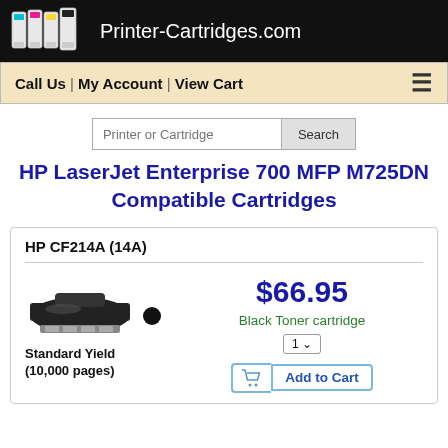Printer-Cartridges.com
Call Us | My Account | View Cart
Printer or Cartridge [Search]
HP LaserJet Enterprise 700 MFP M725DN Compatible Cartridges
HP CF214A (14A)
$66.95
Black Toner cartridge
Standard Yield (10,000 pages)